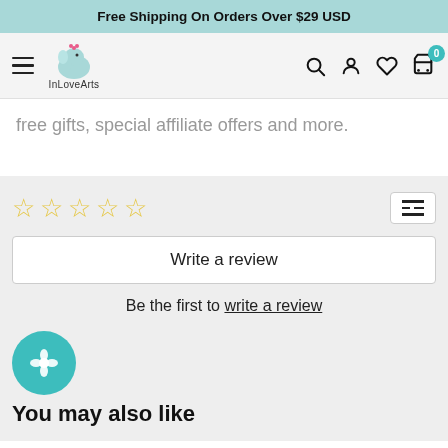Free Shipping On Orders Over $29 USD
[Figure (logo): InLoveArts logo with a cartoon elephant and cursive text 'InLoveArts']
free gifts, special affiliate offers and more.
Write a review
Be the first to write a review
You may also like